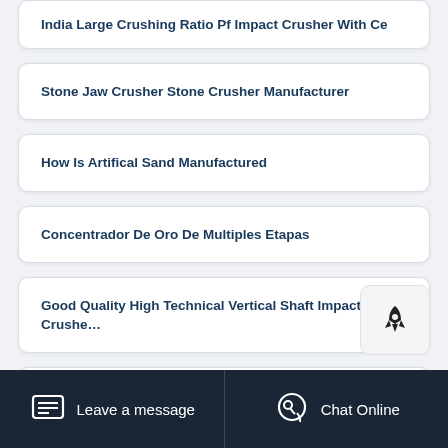India Large Crushing Ratio Pf Impact Crusher With Ce
Stone Jaw Crusher Stone Crusher Manufacturer
How Is Artifical Sand Manufactured
Concentrador De Oro De Multiples Etapas
Good Quality High Technical Vertical Shaft Impact Crushe…
[Figure (other): Rocket/launch icon button]
Leave a message   Chat Online